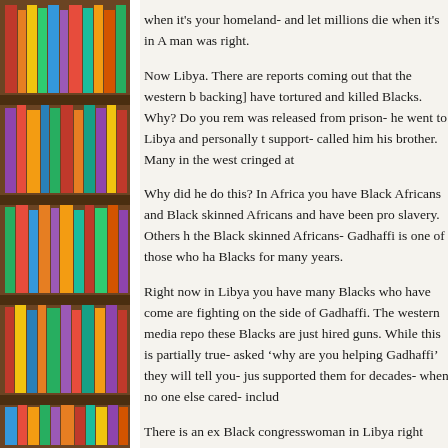[Figure (photo): Photograph of a bookshelf filled with colorful books, spanning the full left column of the page.]
when it's your homeland- and let millions die when it's in A man was right.
Now Libya. There are reports coming out that the western b backing] have tortured and killed Blacks. Why? Do you rem was released from prison- he went to Libya and personally t support- called him his brother. Many in the west cringed at
Why did he do this? In Africa you have Black Africans and Black skinned Africans and have been pro slavery. Others h the Black skinned Africans- Gadhaffi is one of those who ha Blacks for many years.
Right now in Libya you have many Blacks who have come are fighting on the side of Gadhaffi. The western media repo these Blacks are just hired guns. While this is partially true- asked 'why are you helping Gadhaffi' they will tell you- jus supported them for decades- when no one else cared- includ
There is an ex Black congresswoman in Libya right now- sh have been lynching the Blacks- just having Black skinident side- No wonder Farrakhan said 'who the hell are you [Oba